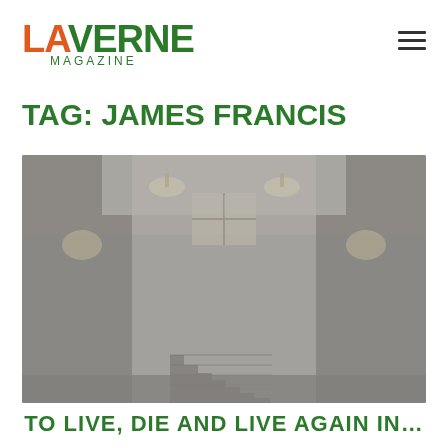LA VERNE MAGAZINE
TAG: JAMES FRANCIS
[Figure (photo): Interior hallway of a building with a staircase leading upward, pendant light fixtures on the ceiling, and a window at the top of the stairs. The image has a muted, grayish tone.]
TO LIVE, DIE AND LIVE AGAIN IN…